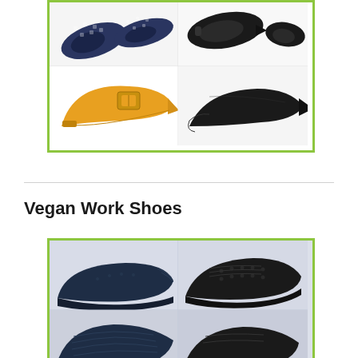[Figure (photo): Collage of vegan flat shoes with green border: navy houndstooth flats, yellow/mustard pointed-toe flat with buckle, navy loafers, black slingback pointed-toe flat]
Vegan Work Shoes
[Figure (photo): Collage of vegan work shoes with green border: dark navy slip-resistant clogs/work shoes, black lace-up athletic/work sneakers, dark navy knit sneakers, black athletic shoes]